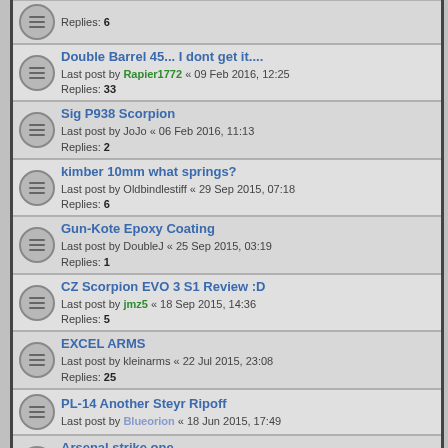Replies: 6
Double Barrel 45... I dont get it.... Last post by Rapier1772 « 09 Feb 2016, 12:25 Replies: 33
Sig P938 Scorpion Last post by JoJo « 06 Feb 2016, 11:13 Replies: 2
kimber 10mm what springs? Last post by Oldbindlestiff « 29 Sep 2015, 07:18 Replies: 6
Gun-Kote Epoxy Coating Last post by DoubleJ « 25 Sep 2015, 03:19 Replies: 1
CZ Scorpion EVO 3 S1 Review :D Last post by jmz5 « 18 Sep 2015, 14:36 Replies: 5
EXCEL ARMS Last post by kleinarms « 22 Jul 2015, 23:08 Replies: 25
PL-14 Another Steyr Ripoff Last post by Blueorion « 18 Jun 2015, 17:49
Arsenal strike one. Last post by MikeSantor « 18 Jun 2015, 14:58 Replies: 3
Evo 3 S1 Pistol Last post by jmz5 « 24 Apr 2015, 03:35 Replies: 14
Detonics 451 Magnum Last post by blueorion « 27 Mar 2015, 15:01